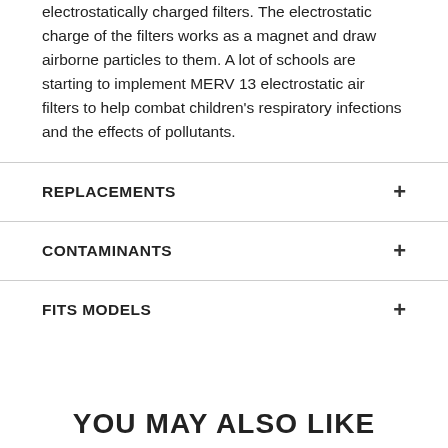electrostatically charged filters. The electrostatic charge of the filters works as a magnet and draw airborne particles to them. A lot of schools are starting to implement MERV 13 electrostatic air filters to help combat children's respiratory infections and the effects of pollutants.
REPLACEMENTS
CONTAMINANTS
FITS MODELS
YOU MAY ALSO LIKE